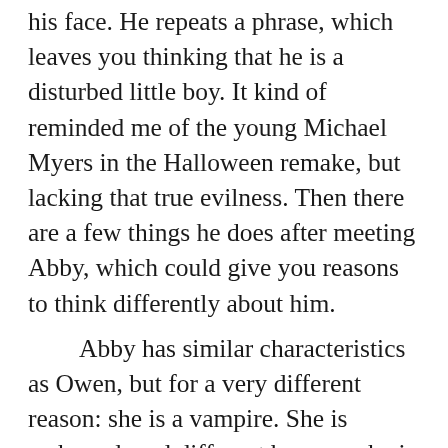his face. He repeats a phrase, which leaves you thinking that he is a disturbed little boy. It kind of reminded me of the young Michael Myers in the Halloween remake, but lacking that true evilness. Then there are a few things he does after meeting Abby, which could give you reasons to think differently about him. Abby has similar characteristics as Owen, but for a very different reason: she is a vampire. She is awkward, and different because she is hiding that secret. Impressionable, because even though she doesn't want to get close to Owen, she can't help but be charmed by his unusual manner. She found someone that is on the outside of society like her. As far as looking to be loved, it may not be as obvious as Owen, but every vampire needs a companion. Then, there are her vampire...